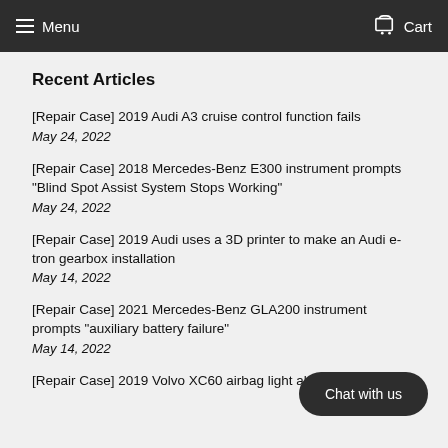Menu  Cart
Recent Articles
[Repair Case] 2019 Audi A3 cruise control function fails
May 24, 2022
[Repair Case] 2018 Mercedes-Benz E300 instrument prompts "Blind Spot Assist System Stops Working"
May 24, 2022
[Repair Case] 2019 Audi uses a 3D printer to make an Audi e-tron gearbox installation
May 14, 2022
[Repair Case] 2021 Mercedes-Benz GLA200 instrument prompts "auxiliary battery failure"
May 14, 2022
[Repair Case] 2019 Volvo XC60 airbag light alarm